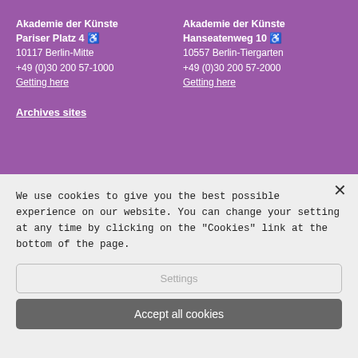Akademie der Künste Pariser Platz 4 ♿
10117 Berlin-Mitte
+49 (0)30 200 57-1000
Getting here
Akademie der Künste Hanseatenweg 10 ♿
10557 Berlin-Tiergarten
+49 (0)30 200 57-2000
Getting here
Archives sites
We use cookies to give you the best possible experience on our website. You can change your setting at any time by clicking on the "Cookies" link at the bottom of the page.
Settings
Accept all cookies